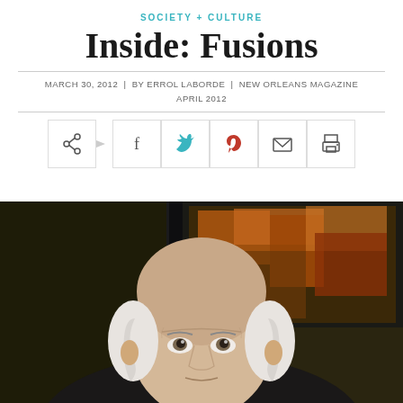SOCIETY + CULTURE
Inside: Fusions
MARCH 30, 2012  |  BY ERROL LABORDE  |  NEW ORLEANS MAGAZINE APRIL 2012
[Figure (other): Social sharing toolbar with share, facebook, twitter, pinterest, email, and print icons]
[Figure (photo): Close-up portrait of an elderly man with white hair, looking upward, in front of an abstract painting]